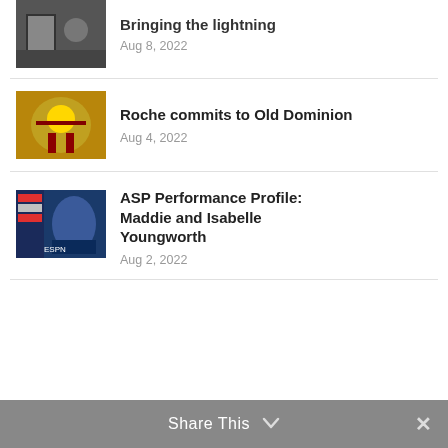[Figure (photo): Thumbnail image for 'Bringing the lightning' article]
Bringing the lightning
Aug 8, 2022
[Figure (photo): Thumbnail image for 'Roche commits to Old Dominion' article]
Roche commits to Old Dominion
Aug 4, 2022
[Figure (photo): Thumbnail image for 'ASP Performance Profile: Maddie and Isabelle Youngworth' article]
ASP Performance Profile: Maddie and Isabelle Youngworth
Aug 2, 2022
Share This ∨  ✕